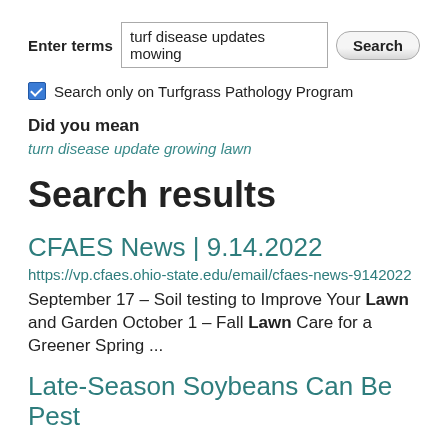Enter terms  turf disease updates mowing  Search
Search only on Turfgrass Pathology Program
Did you mean
turn disease update growing lawn
Search results
CFAES News | 9.14.2022
https://vp.cfaes.ohio-state.edu/email/cfaes-news-9142022
September 17 – Soil testing to Improve Your Lawn and Garden October 1 – Fall Lawn Care for a Greener Spring ...
Late-Season Soybeans Can Be Pest